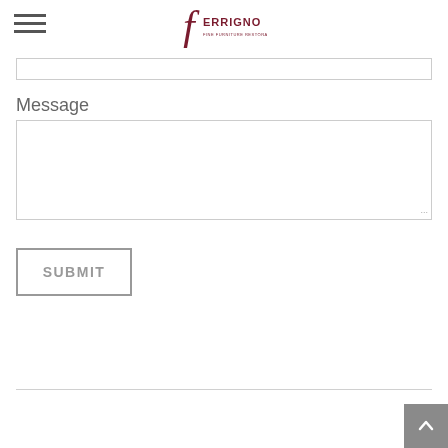Ferrigno logo and navigation menu
Message
[Figure (other): Empty text input field]
[Figure (other): Empty message textarea input field]
SUBMIT
Back to top button